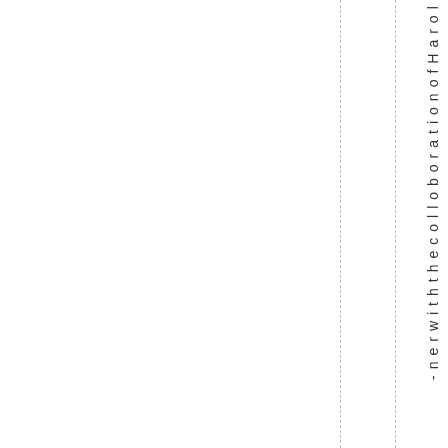nerwiththecolaborationonofHarol